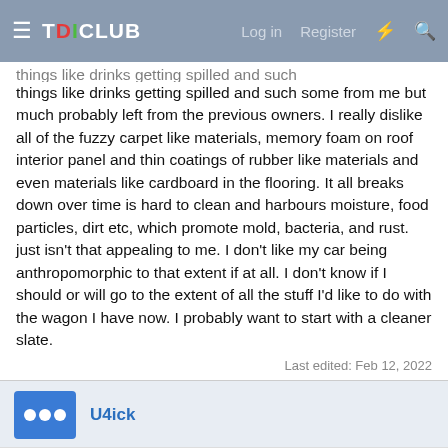TDICLUB — Log in  Register
things like drinks getting spilled and such some from me but much probably left from the previous owners. I really dislike all of the fuzzy carpet like materials, memory foam on roof interior panel and thin coatings of rubber like materials and even materials like cardboard in the flooring. It all breaks down over time is hard to clean and harbours moisture, food particles, dirt etc, which promote mold, bacteria, and rust. just isn't that appealing to me. I don't like my car being anthropomorphic to that extent if at all. I don't know if I should or will go to the extent of all the stuff I'd like to do with the wagon I have now. I probably want to start with a cleaner slate.
Last edited: Feb 12, 2022
U4ick
This site uses cookies to help personalise content, tailor your experience and to keep you logged in if you register.
By continuing to use this site, you are consenting to our use of cookies.